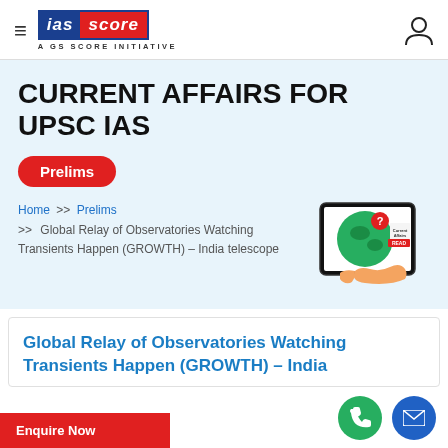ias score — A GS SCORE INITIATIVE
CURRENT AFFAIRS FOR UPSC IAS
Prelims
Home >> Prelims >> Global Relay of Observatories Watching Transients Happen (GROWTH) – India telescope
Global Relay of Observatories Watching Transients Happen (GROWTH) – India telescope